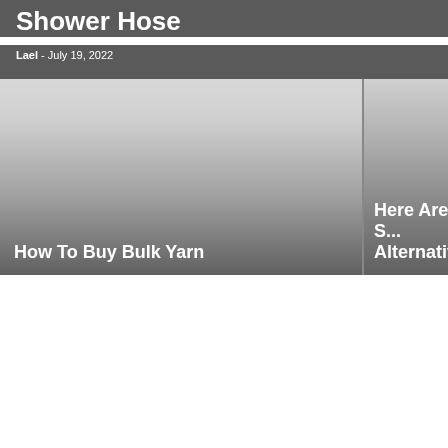Shower Hose
Lael - July 19, 2022
[Figure (photo): Card image for 'How To Buy Bulk Yarn' with gradient gray background]
How To Buy Bulk Yarn
[Figure (photo): Partial card image for 'Here Are S... Alternativ...' with gradient gray background]
Here Are S... Alternativ...